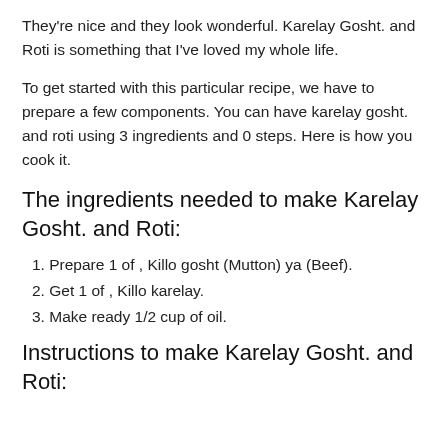They're nice and they look wonderful. Karelay Gosht. and Roti is something that I've loved my whole life.
To get started with this particular recipe, we have to prepare a few components. You can have karelay gosht. and roti using 3 ingredients and 0 steps. Here is how you cook it.
The ingredients needed to make Karelay Gosht. and Roti:
Prepare 1 of , Killo gosht (Mutton) ya (Beef).
Get 1 of , Killo karelay.
Make ready 1/2 cup of oil.
Instructions to make Karelay Gosht. and Roti: